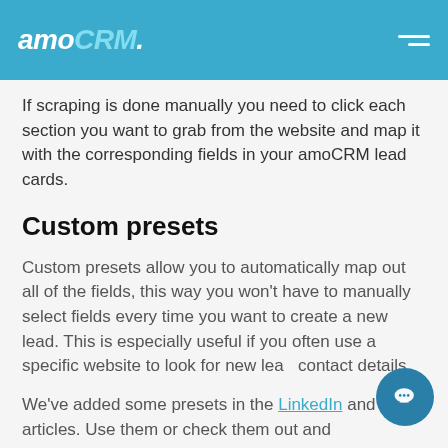amoCRM.
If scraping is done manually you need to click each section you want to grab from the website and map it with the corresponding fields in your amoCRM lead cards.
Custom presets
Custom presets allow you to automatically map out all of the fields, this way you won't have to manually select fields every time you want to create a new lead. This is especially useful if you often use a specific website to look for new lead contact details.
We've added some presets in the LinkedIn and Zillow articles. Use them or check them out and